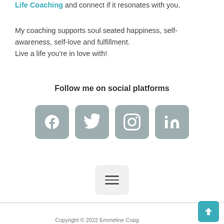Life Coaching and connect if it resonates with you.
My coaching supports soul seated happiness, self-awareness, self-love and fulfillment.
Live a life you're in love with!
Follow me on social platforms
[Figure (infographic): Four rounded square social media icon buttons in grey: Facebook, Twitter, Instagram, LinkedIn]
[Figure (infographic): Hamburger menu button — three horizontal lines on a light grey rounded rectangle]
Copyright © 2022 Emmeline Craig